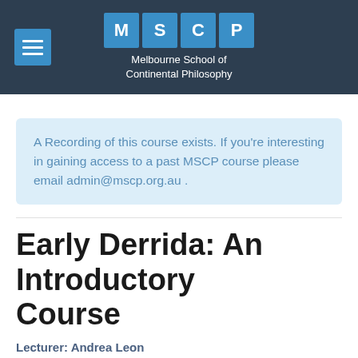MSCP — Melbourne School of Continental Philosophy
A Recording of this course exists. If you're interesting in gaining access to a past MSCP course please email admin@mscp.org.au .
Early Derrida: An Introductory Course
Lecturer: Andrea Leon
Originally Taught: Evening Sem 2 2011